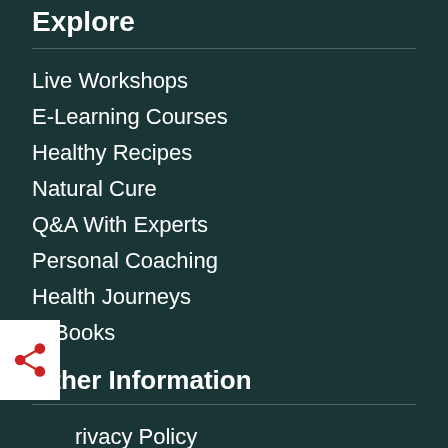Explore
Live Workshops
E-Learning Courses
Healthy Recipes
Natural Cure
Q&A With Experts
Personal Coaching
Health Journeys
E-Books
Other Information
Privacy Policy
Terms Of Use
Content Guidelines
How To Use